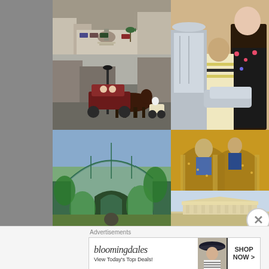[Figure (photo): Aerial view of a city plaza with fountain, parked cars, and people]
[Figure (photo): Family photo with woman in floral dress, child, and person in knight armor]
[Figure (photo): Horse-drawn carriage on a city street with buildings and motorcycle]
[Figure (photo): Greenhouse or botanical garden building with glass roof and tropical plants]
[Figure (photo): Interior of a Byzantine church with golden mosaics and arches]
[Figure (photo): Ancient Greek or Roman temple ruins on a hill]
Advertisements
[Figure (screenshot): Bloomingdale's advertisement banner: 'bloomingdales - View Today's Top Deals!' with woman in hat and SHOP NOW > button]